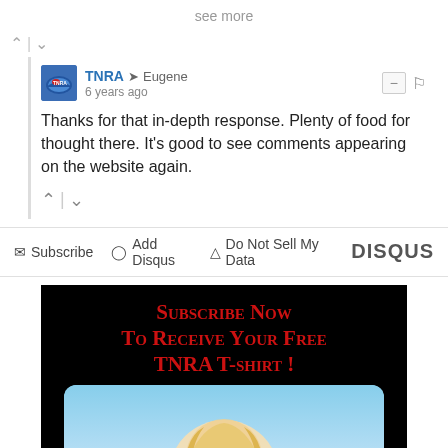see more
^ | v
TNRA → Eugene
6 years ago
Thanks for that in-depth response. Plenty of food for thought there. It's good to see comments appearing on the website again.
^ | v
☐ Subscribe  ⊙ Add Disqus  ▲ Do Not Sell My Data  DISQUS
[Figure (infographic): Black background advertisement banner with red small-caps text reading 'Subscribe Now To Receive Your Free TNRA T-shirt!' above a rounded rectangle showing a blue sky background with a partial image of a blonde woman.]